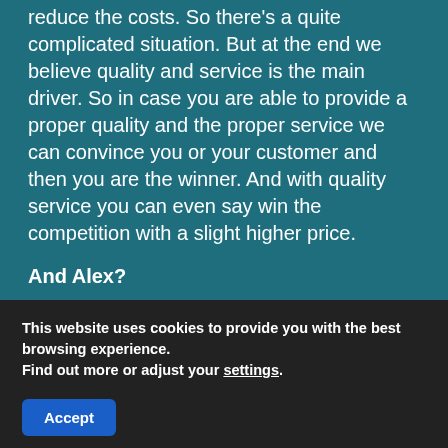they try to optimize their revenue streams. We try to reduce the costs. So there's a quite complicated situation. But at the end we believe quality and service is the main driver. So in case you are able to provide a proper quality and the proper service we can convince you or your customer and then you are the winner. And with quality service you can even say win the competition with a slight higher price.
And Alex?
I think we're all under financial pressure also the airport. And when I looked back last year where with our facility we had negotiations with all...
This website uses cookies to provide you with the best browsing experience.
Find out more or adjust your settings.
Accept